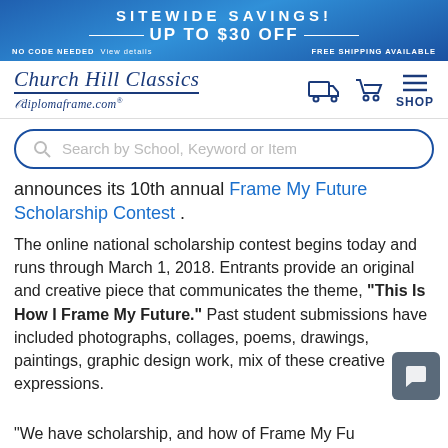SITEWIDE SAVINGS! UP TO $30 OFF | NO CODE NEEDED View details | FREE SHIPPING AVAILABLE
[Figure (logo): Church Hill Classics diplomaframe.com logo with navigation icons (truck, cart, menu) and SHOP label]
Search by School, Keyword or Item
announces its 10th annual Frame My Future Scholarship Contest .
The online national scholarship contest begins today and runs through March 1, 2018. Entrants provide an original and creative piece that communicates the theme, "This Is How I Frame My Future." Past student submissions have included photographs, collages, poems, drawings, paintings, graphic design work, mix of these creative expressions.
"We have scholarship, and how of Frame My Fu...